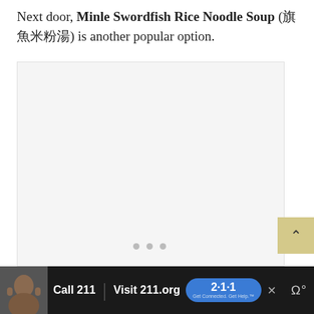Next door, Minle Swordfish Rice Noodle Soup (旗魚米粉湯) is another popular option.
[Figure (photo): A light gray placeholder image area with three dots at the bottom center, indicating a photo carousel with no image loaded.]
Call 211 | Visit 211.org [2-1-1 badge] [close button] [weather icon]